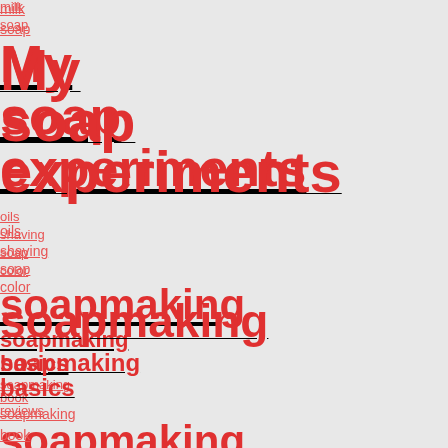milk
soap
My soap experiments
oils
shaving soap
color
soapmaking
soapmaking basics
soapmaking book reviews
soapmaking techniques
soapmaking tutorials
soap molds